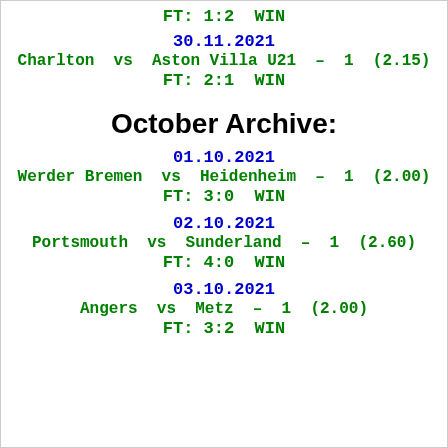FT: 1:2  WIN
30.11.2021
Charlton  vs  Aston Villa U21  –  1  (2.15)
FT: 2:1  WIN
October Archive:
01.10.2021
Werder Bremen  vs  Heidenheim  –  1  (2.00)
FT: 3:0  WIN
02.10.2021
Portsmouth  vs  Sunderland  –  1  (2.60)
FT: 4:0  WIN
03.10.2021
Angers  vs  Metz  –  1  (2.00)
FT: 3:2  WIN